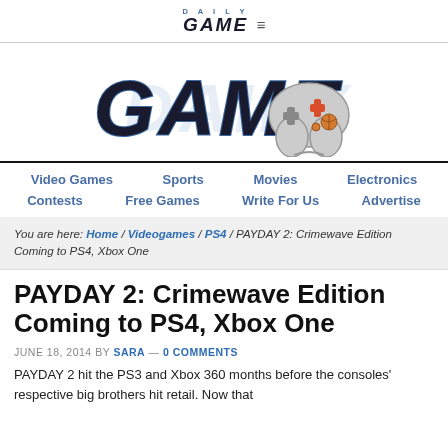DAILY GAME ≡
[Figure (logo): Daily Game logo with large stylized GAME text and a game controller graphic with a basketball-themed button]
Video Games | Sports | Movies | Electronics | Contests | Free Games | Write For Us | Advertise
You are here: Home / Videogames / PS4 / PAYDAY 2: Crimewave Edition Coming to PS4, Xbox One
PAYDAY 2: Crimewave Edition Coming to PS4, Xbox One
JUNE 18, 2014 BY SARA — 0 COMMENTS
PAYDAY 2 hit the PS3 and Xbox 360 months before the consoles' respective big brothers hit retail. Now that